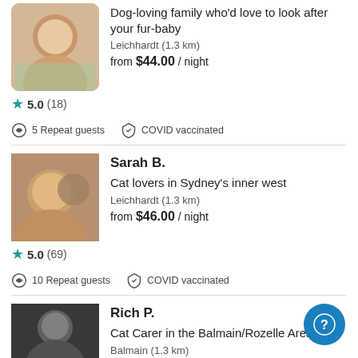Dog-loving family who'd love to look after your fur-baby
Leichhardt (1.3 km)
from $44.00 / night
★5.0 (18)
5 Repeat guests  COVID vaccinated
Sarah B.
Cat lovers in Sydney's inner west
Leichhardt (1.3 km)
from $46.00 / night
★5.0 (69)
10 Repeat guests  COVID vaccinated
Rich P.
Cat Carer in the Balmain/Rozelle Area
Balmain (1.3 km)